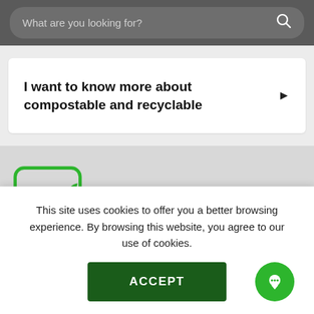What are you looking for?
I want to know more about compostable and recyclable
[Figure (logo): Green 'ca' logo with a leaf inside a rounded square border]
This site uses cookies to offer you a better browsing experience. By browsing this website, you agree to our use of cookies.
ACCEPT